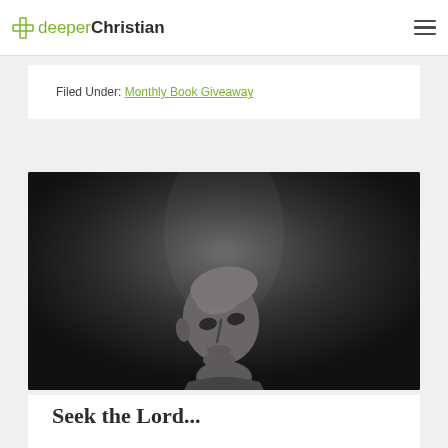deeperChristian
Filed Under: Monthly Book Giveaway
[Figure (photo): Black and white photo of a bald man looking upward against a dark background]
Seek the Lord...